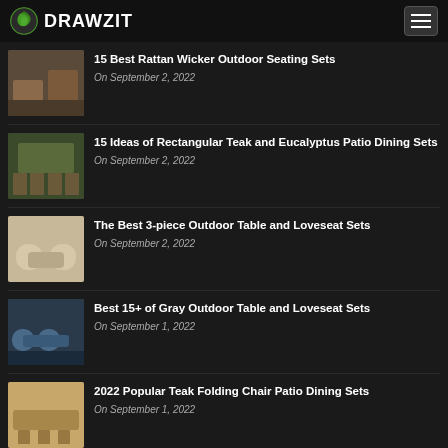DRAWZIT
15 Best Rattan Wicker Outdoor Seating Sets — On September 2, 2022
15 Ideas of Rectangular Teak and Eucalyptus Patio Dining Sets — On September 2, 2022
The Best 3-piece Outdoor Table and Loveseat Sets — On September 2, 2022
Best 15+ of Gray Outdoor Table and Loveseat Sets — On September 1, 2022
2022 Popular Teak Folding Chair Patio Dining Sets — On September 1, 2022
The 15 Best Collection of Teak Wicker Outdoor Dining Sets